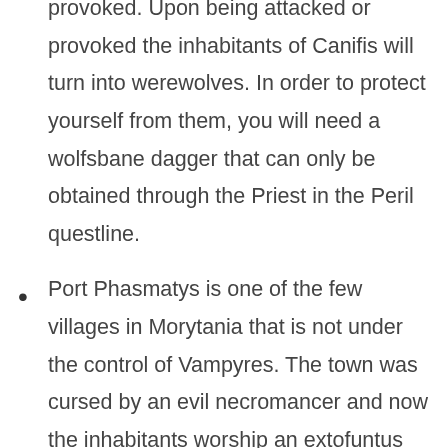provoked. Upon being attacked or provoked the inhabitants of Canifis will turn into werewolves. In order to protect yourself from them, you will need a wolfsbane dagger that can only be obtained through the Priest in the Peril questline.
Port Phasmatys is one of the few villages in Morytania that is not under the control of Vampyres. The town was cursed by an evil necromancer and now the inhabitants worship an extofuntus that slowly turned them all insane. Eventually, they succumbed to their insanity and died by starvation or paranoia. Unfortunately, relief was only temporary and